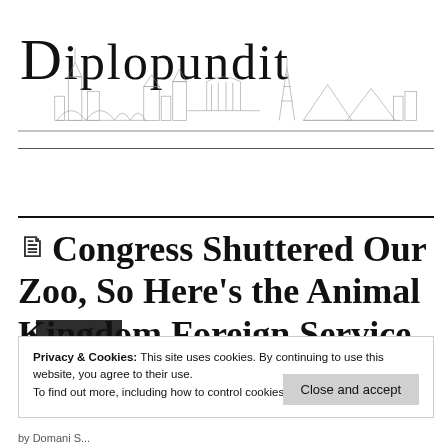Diplopundit
Menu
Congress Shuttered Our Zoo, So Here's the Animal Kingdom Foreign Service Round-Up
Privacy & Cookies: This site uses cookies. By continuing to use this website, you agree to their use.
To find out more, including how to control cookies, see here: Cookie Policy
Close and accept